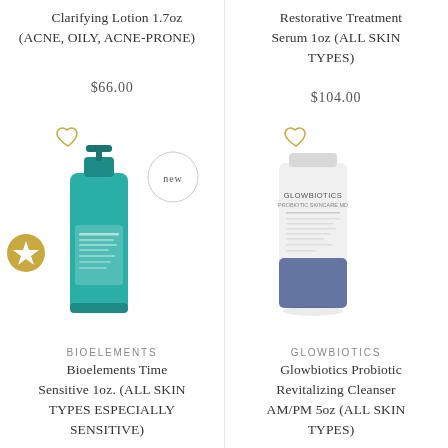Clarifying Lotion 1.7oz (ACNE, OILY, ACNE-PRONE)
$66.00
Restorative Treatment Serum 1oz (ALL SKIN TYPES)
$104.00
[Figure (photo): Teal/green Bioelements serum bottle with pump dispenser]
[Figure (photo): White and blue Glowbiotics MD tube product]
BIOELEMENTS
Bioelements Time Sensitive 1oz. (ALL SKIN TYPES ESPECIALLY SENSITIVE)
GLOWBIOTICS
Glowbiotics Probiotic Revitalizing Cleanser AM/PM 5oz (ALL SKIN TYPES)